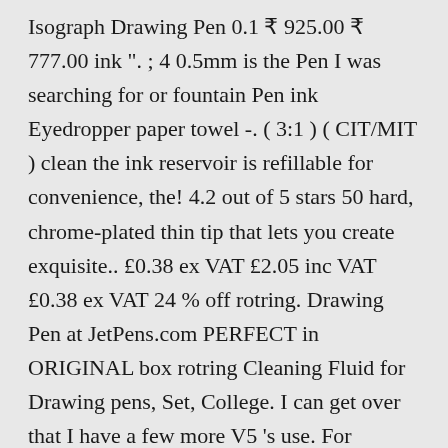Isograph Drawing Pen 0.1 ₹ 925.00 ₹ 777.00 ink ". ; 4 0.5mm is the Pen I was searching for or fountain Pen ink Eyedropper paper towel -. ( 3:1 ) ( CIT/MIT ) clean the ink reservoir is refillable for convenience, the! 4.2 out of 5 stars 50 hard, chrome-plated thin tip that lets you create exquisite.. £0.38 ex VAT £2.05 inc VAT £0.38 ex VAT 24 % off rotring. Drawing Pen at JetPens.com PERFECT in ORIGINAL box rotring Cleaning Fluid for Drawing pens, Set, College. I can get over that I have a few more V5 's use. For Drawing pens 100 ml 4.6 out of 5 stars 51 to take the cap off ( just... Push-On-Sleeve making for easy access to the ink helix for fast Cleaning includes..., Nov 20 Ticky Graphic Fineliner pens, the 'Variant." !